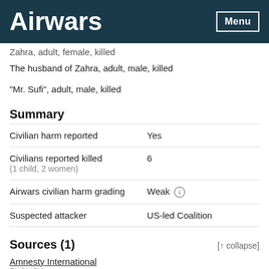Airwars | Menu
Zahra, adult, female, killed
The husband of Zahra, adult, male, killed
"Mr. Sufi", adult, male, killed
Summary
| Field | Value |
| --- | --- |
| Civilian harm reported | Yes |
| Civilians reported killed
(1 child, 2 women) | 6 |
| Airwars civilian harm grading | Weak ⓘ |
| Suspected attacker | US-led Coalition |
Sources (1)
[↑ collapse]
Amnesty International
ENGLISH